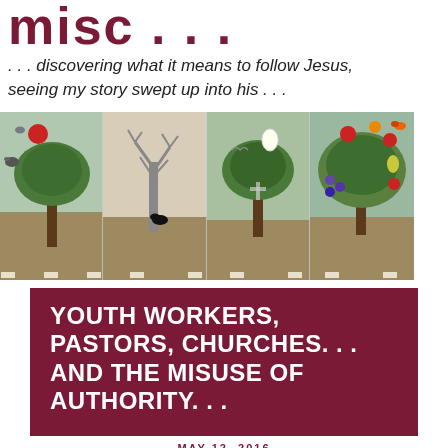misc . . .
. . . discovering what it means to follow Jesus, seeing my story swept up into his . . .
[Figure (illustration): Four painted panels showing trees in different seasons/states: first panel shows a leafy tree with birds and a red ball; second panel shows a bare winter tree with a black bird; third panel shows a green tree with a white oval and a cross; fourth panel shows a lush tree with colorful fruits (red, yellow, green).]
YOUTH WORKERS, PASTORS, CHURCHES. . . AND THE MISUSE OF AUTHORITY. . .
MAY 12, 2016